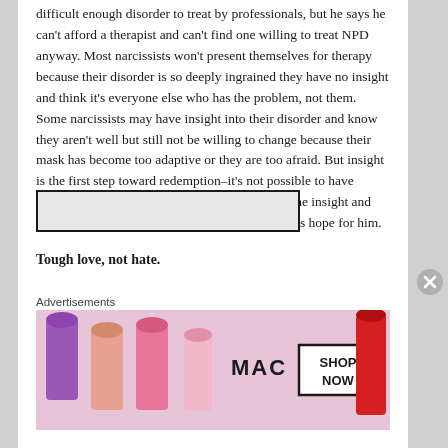difficult enough disorder to treat by professionals, but he says he can't afford a therapist and can't find one willing to treat NPD anyway. Most narcissists won't present themselves for therapy because their disorder is so deeply ingrained they have no insight and think it's everyone else who has the problem, not them. Some narcissists may have insight into their disorder and know they aren't well but still not be willing to change because their mask has become too adaptive or they are too afraid. But insight is the first step toward redemption–it's not possible to have willingness without insight. This man has both the insight and the willingness. With both present, I think there is hope for him.
Tough love, not hate.
Advertisements
[Figure (other): MAC cosmetics advertisement showing lipsticks in purple, pink, salmon, and red colors with the MAC logo and a 'SHOP NOW' button in a bordered box]